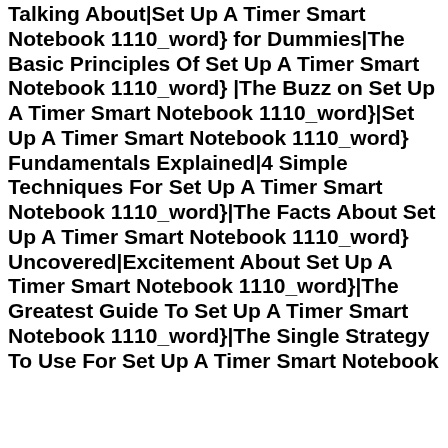Talking About|Set Up A Timer Smart Notebook 1110_word} for Dummies|The Basic Principles Of Set Up A Timer Smart Notebook 1110_word} |The Buzz on Set Up A Timer Smart Notebook 1110_word}|Set Up A Timer Smart Notebook 1110_word} Fundamentals Explained|4 Simple Techniques For Set Up A Timer Smart Notebook 1110_word}|The Facts About Set Up A Timer Smart Notebook 1110_word} Uncovered|Excitement About Set Up A Timer Smart Notebook 1110_word}|The Greatest Guide To Set Up A Timer Smart Notebook 1110_word}|The Single Strategy To Use For Set Up A Timer Smart Notebook